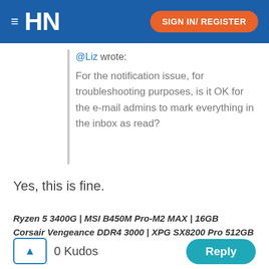HN  SIGN IN/ REGISTER
@Liz wrote:
For the notification issue, for troubleshooting purposes, is it OK for the e-mail admins to mark everything in the inbox as read?
Yes, this is fine.
Ryzen 5 3400G | MSI B450M Pro-M2 MAX | 16GB
Corsair Vengeance DDR4 3000 | XPG SX8200 Pro 512GB
0 Kudos  Reply